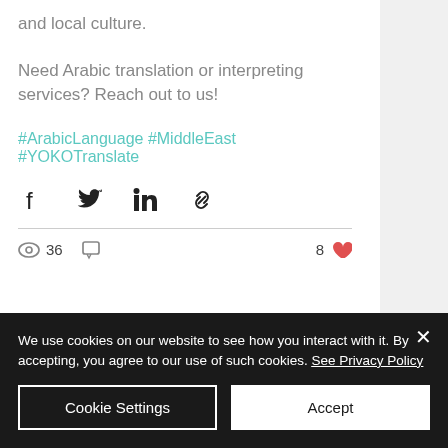and local culture.
Need Arabic translation or interpreting services? Reach out to us!
#ArabicLanguage #MiddleEast #YOKOTranslate
[Figure (other): Social share icons: Facebook, Twitter, LinkedIn, Link]
36 views, comment icon, 8 likes
We use cookies on our website to see how you interact with it. By accepting, you agree to our use of such cookies. See Privacy Policy
Cookie Settings
Accept